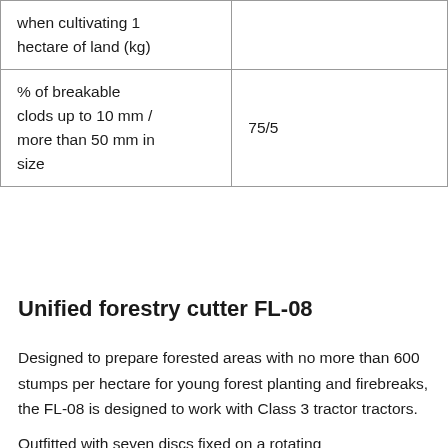|  |  |
| --- | --- |
| when cultivating 1 hectare of land (kg) |  |
| % of breakable clods up to 10 mm / more than 50 mm in size | 75/5 |
Unified forestry cutter FL-08
Designed to prepare forested areas with no more than 600 stumps per hectare for young forest planting and firebreaks, the FL-08 is designed to work with Class 3 tractor tractors.
Outfitted with seven discs fixed on a rotating